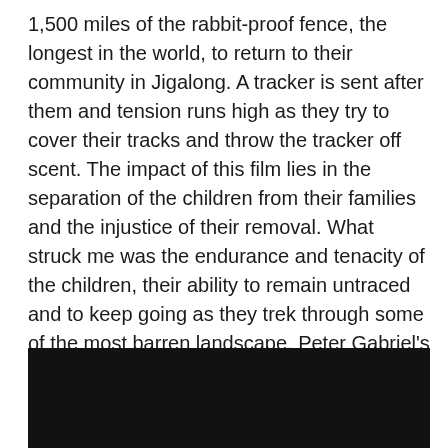1,500 miles of the rabbit-proof fence, the longest in the world, to return to their community in Jigalong. A tracker is sent after them and tension runs high as they try to cover their tracks and throw the tracker off scent. The impact of this film lies in the separation of the children from their families and the injustice of their removal. What struck me was the endurance and tenacity of the children, their ability to remain untraced and to keep going as they trek through some of the most barren landscape. Peter Gabriel's soundtrack adds to the impact and the heart-rending scenes along the way. I have added the long and the short trailers. The longer trailer is much better, but if you are pressed for time at least watch the second shorter one. It really is one not to be missed.
[Figure (photo): A dark nearly black rectangular image, likely a video player or screenshot thumbnail.]